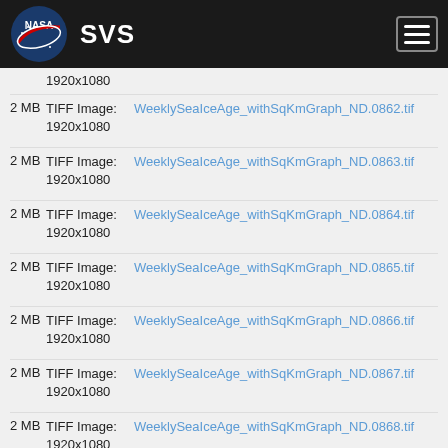NASA SVS
2 MB  TIFF Image: 1920x1080  WeeklySeaIceAge_withSqKmGraph_ND.0862.tif
2 MB  TIFF Image: 1920x1080  WeeklySeaIceAge_withSqKmGraph_ND.0863.tif
2 MB  TIFF Image: 1920x1080  WeeklySeaIceAge_withSqKmGraph_ND.0864.tif
2 MB  TIFF Image: 1920x1080  WeeklySeaIceAge_withSqKmGraph_ND.0865.tif
2 MB  TIFF Image: 1920x1080  WeeklySeaIceAge_withSqKmGraph_ND.0866.tif
2 MB  TIFF Image: 1920x1080  WeeklySeaIceAge_withSqKmGraph_ND.0867.tif
2 MB  TIFF Image: 1920x1080  WeeklySeaIceAge_withSqKmGraph_ND.0868.tif
2 MB  TIFF Image: 1920x1080  WeeklySeaIceAge_withSqKmGraph_ND.0869.tif
2 MB  TIFF Image: 1920x1080  WeeklySeaIceAge_withSqKmGraph_ND.0870.tif
2 MB  TIFF Image: